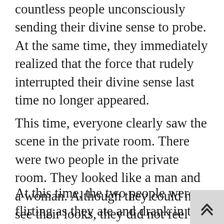countless people unconsciously sending their divine sense to probe. At the same time, they immediately realized that the force that rudely interrupted their divine sense last time no longer appeared.
This time, everyone clearly saw the scene in the private room. There were two people in the private room. They looked like a man and a woman. Although they could not see their looks, they did not feel that these two were too old.
At this time, the two people were flirting as they ate and drank in the private room. They